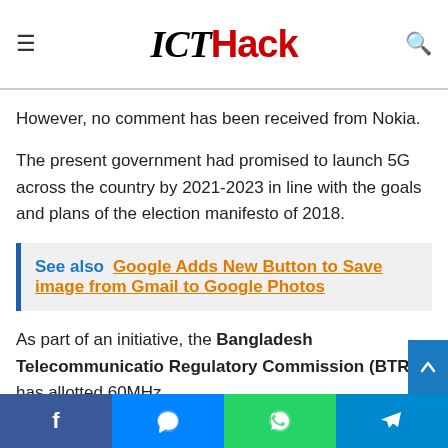ICTHack
technology around the world. Huawei is providing technical support to 63 operators, who have already successfully launched 5G in different countries.
However, no comment has been received from Nokia.
The present government had promised to launch 5G across the country by 2021-2023 in line with the goals and plans of the election manifesto of 2018.
See also  Google Adds New Button to Save image from Gmail to Google Photos
As part of an initiative, the Bangladesh Telecommunication Regulatory Commission (BTRC) has allotted 60MHz